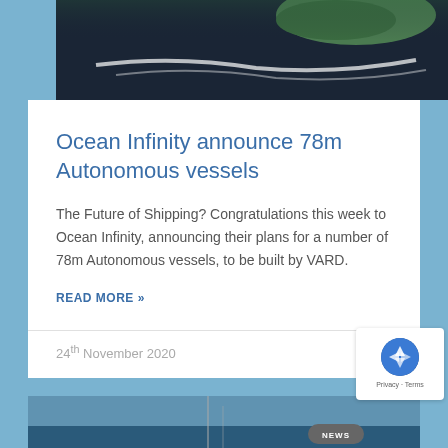[Figure (photo): Aerial photo of a vessel or island with ocean and green land visible from above]
Ocean Infinity announce 78m Autonomous vessels
The Future of Shipping? Congratulations this week to Ocean Infinity, announcing their plans for a number of  78m Autonomous vessels, to be built by VARD.
READ MORE »
24th November 2020
[Figure (photo): Partial view of another news card with ocean/maritime image at the bottom]